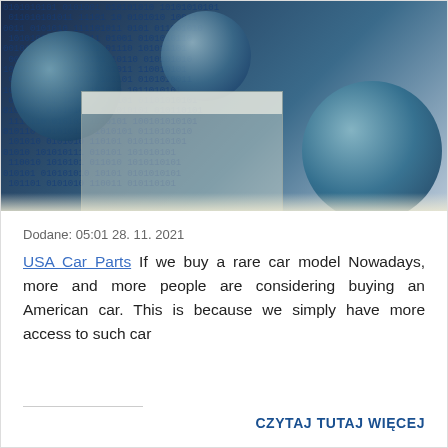[Figure (illustration): Digital technology collage with binary code numbers, globe spheres, and computer monitor imagery on a blue-toned background]
Dodane: 05:01 28. 11. 2021
USA Car Parts If we buy a rare car model Nowadays, more and more people are considering buying an American car. This is because we simply have more access to such car
CZYTAJ TUTAJ WIĘCEJ